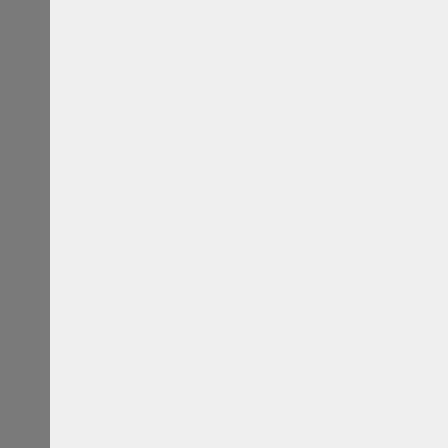and read more another time ☺
REPLY
Dinner Ideas   July 8, 2011 at
You've got great insights abou
REPLY
amazing food addict   Aug
Excellent recipe! perfect for di
Thanks for sharing this. Just li
REPLY
nyc restaurant blogger